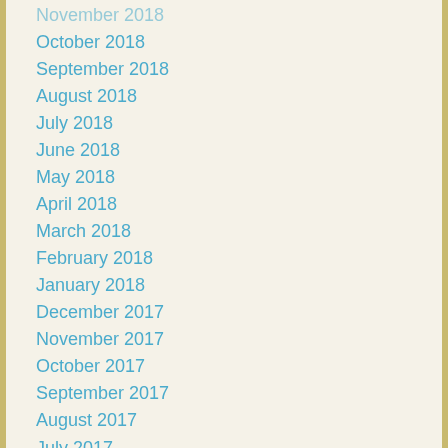November 2018
October 2018
September 2018
August 2018
July 2018
June 2018
May 2018
April 2018
March 2018
February 2018
January 2018
December 2017
November 2017
October 2017
September 2017
August 2017
July 2017
June 2017
May 2017
April 2017
March 2017
February 2017
January 2017
December 2016